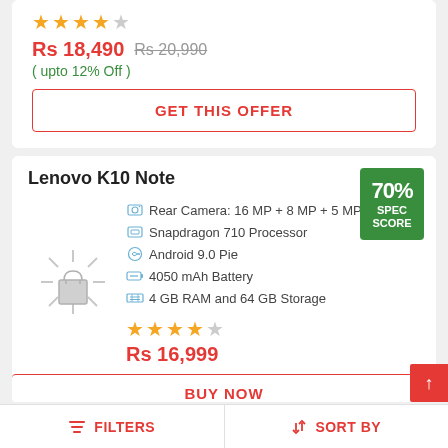★★★★☆
Rs 18,490  Rs 20,990
( upto 12% Off )
GET THIS OFFER
Lenovo K10 Note
[Figure (photo): Lenovo K10 Note product image placeholder (loading spinner)]
Rear Camera: 16 MP + 8 MP + 5 MP
Snapdragon 710 Processor
Android 9.0 Pie
4050 mAh Battery
4 GB RAM and 64 GB Storage
★★★★☆
Rs 16,999
BUY NOW
FILTERS   SORT BY